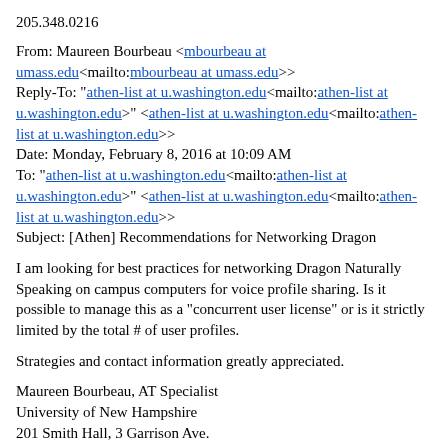205.348.0216
From: Maureen Bourbeau <mbourbeau at umass.edu<mailto:mbourbeau at umass.edu>>
Reply-To: "athen-list at u.washington.edu<mailto:athen-list at u.washington.edu>" <athen-list at u.washington.edu<mailto:athen-list at u.washington.edu>>
Date: Monday, February 8, 2016 at 10:09 AM
To: "athen-list at u.washington.edu<mailto:athen-list at u.washington.edu>" <athen-list at u.washington.edu<mailto:athen-list at u.washington.edu>>
Subject: [Athen] Recommendations for Networking Dragon
I am looking for best practices for networking Dragon Naturally Speaking on campus computers for voice profile sharing. Is it possible to manage this as a "concurrent user license" or is it strictly limited by the total # of user profiles.
Strategies and contact information greatly appreciated.
Maureen Bourbeau, AT Specialist
University of New Hampshire
201 Smith Hall, 3 Garrison Ave.
Durham, NH 03824
(603) 862-2400